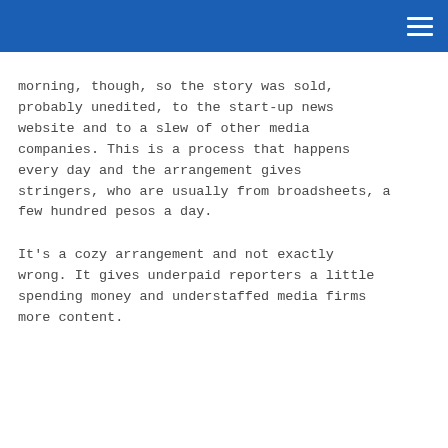morning, though, so the story was sold, probably unedited, to the start-up news website and to a slew of other media companies. This is a process that happens every day and the arrangement gives stringers, who are usually from broadsheets, a few hundred pesos a day.
It's a cozy arrangement and not exactly wrong. It gives underpaid reporters a little spending money and understaffed media firms more content.